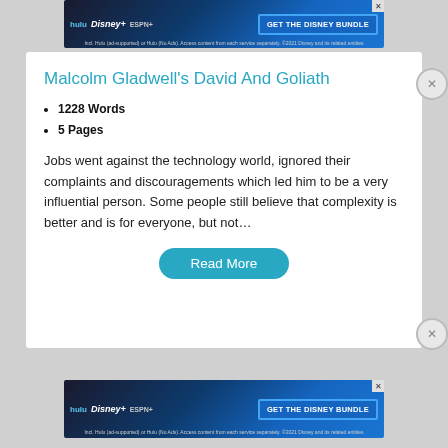[Figure (screenshot): Hulu/Disney+/ESPN+ advertisement banner at top of page with blue gradient background and GET THE DISNEY BUNDLE button]
Malcolm Gladwell's David And Goliath
1228 Words
5 Pages
Jobs went against the technology world, ignored their complaints and discouragements which led him to be a very influential person. Some people still believe that complexity is better and is for everyone, but not…
Read More
[Figure (screenshot): Hulu/Disney+/ESPN+ advertisement banner at bottom of page with blue gradient background and GET THE DISNEY BUNDLE button]